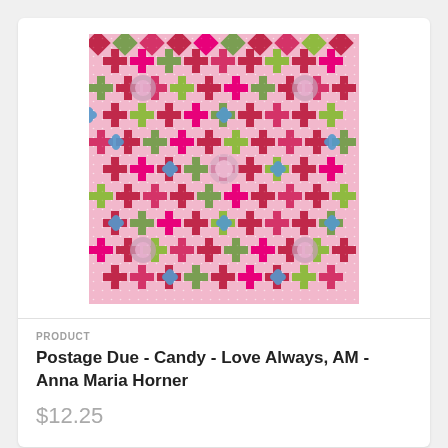[Figure (photo): Colorful patchwork fabric with geometric cross and diamond patterns in pink, red, green, olive, and blue on a light pink background]
PRODUCT
Postage Due - Candy - Love Always, AM - Anna Maria Horner
$12.25
[Figure (photo): Floral and butterfly fabric in rich purple/maroon background with colorful orange, red, yellow flowers and blue butterflies]